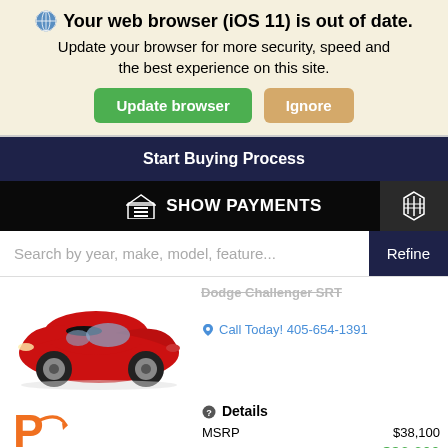Your web browser (iOS 11) is out of date. Update your browser for more security, speed and the best experience on this site.
Update browser
Ignore
Start Buying Process
SHOW PAYMENTS
Search by year, make, model, feature...
Refine
[Figure (photo): Red Dodge Challenger SRT muscle car, front 3/4 view on white background]
Dodge Challenger SRT (partially visible)
Call Today! 405-654-1391
[Figure (logo): Patriot orange P logo with swoosh]
o Mango Exterior
Details
MSRP
$38,100
Patriot Price
$36,600
Interior: Black Interior Color